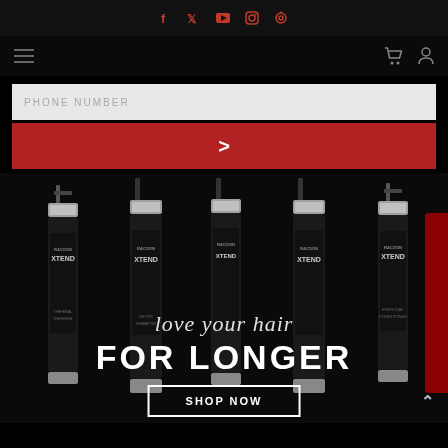Social media icons: Facebook, Twitter, YouTube, Instagram, Pinterest
[Figure (screenshot): Navigation bar with hamburger menu, cart icon, and user icon on black background]
PHONE NUMBER
[Figure (other): Red submit button with right-arrow chevron]
[Figure (photo): Racoon Xtend hair product bottles (Thermal Defense spray, Detox Shampoo, conditioner, and Everyday Conditioner spray) on black background with overlay text 'love your hair FOR LONGER']
love your hair
FOR LONGER
SHOP NOW